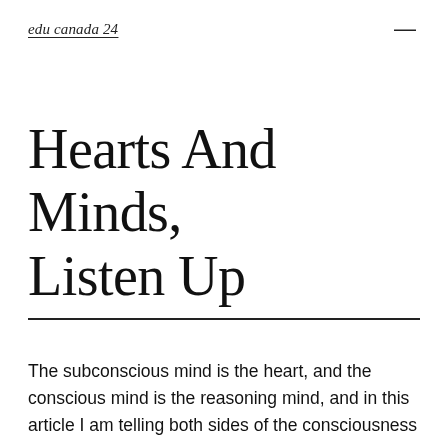edu canada 24
Hearts And Minds, Listen Up
The subconscious mind is the heart, and the conscious mind is the reasoning mind, and in this article I am telling both sides of the consciousness